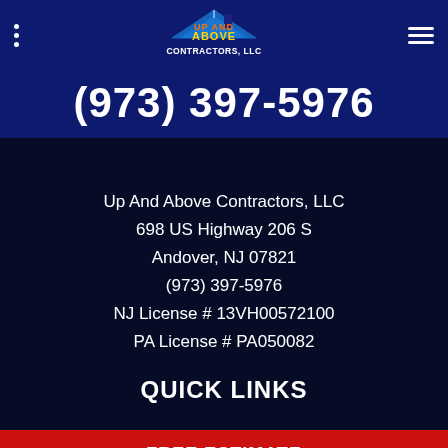[Figure (logo): Up And Above Contractors, LLC logo with house roof graphic and colorful text]
(973) 397-5976
Up And Above Contractors, LLC
698 US Highway 206 S
Andover, NJ 07821
(973) 397-5976
NJ License # 13VH00572100
PA License # PA050082
QUICK LINKS
FREE ESTIMATE